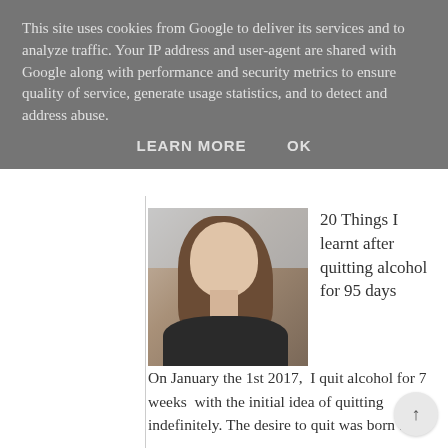This site uses cookies from Google to deliver its services and to analyze traffic. Your IP address and user-agent are shared with Google along with performance and security metrics to ensure quality of service, generate usage statistics, and to detect and address abuse.
LEARN MORE    OK
20 Things I learnt after quitting alcohol for 95 days
On January the 1st 2017,  I quit alcohol for 7 weeks  with the initial idea of quitting indefinitely. The desire to quit was born ...
Apple Butter Porridge With Cinnamon
Apples cooked down in butter, poured over